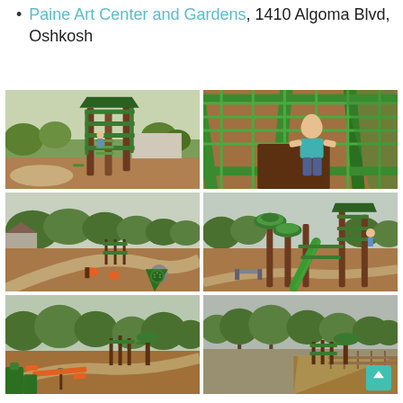Paine Art Center and Gardens, 1410 Algoma Blvd, Oshkosh
[Figure (photo): Six outdoor playground photos showing green climbing structures, slides, and play equipment at what appears to be a park. Top-left: climbing tower structure. Top-right: girl climbing a green net at close range. Middle-left: wide view of playground area with orange play elements. Middle-right: playground with green slides and mushroom-topped poles. Bottom-left: wide view of playground with orange seesaw. Bottom-right: distant view of playground equipment with trees.]